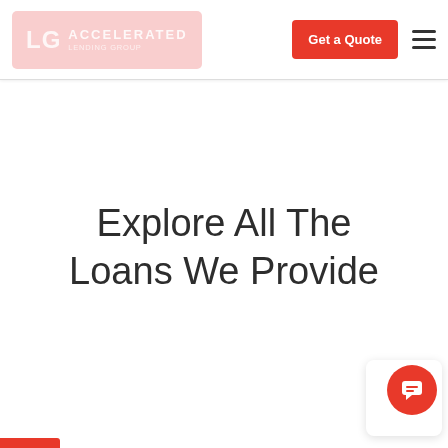[Figure (logo): LG Accelerated Lending Group logo on pink/light-red background]
[Figure (screenshot): Get a Quote red button in navigation header]
Explore All The Loans We Provide
[Figure (illustration): Red chat/message bubble icon in bottom right corner]